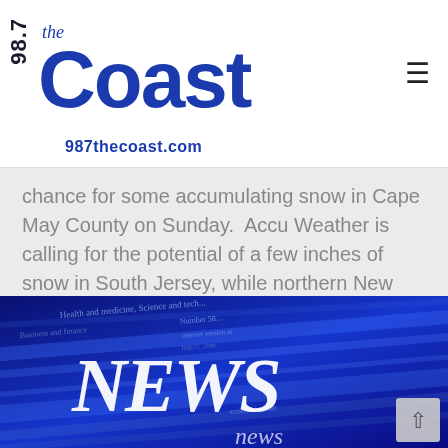[Figure (logo): 98.7 The Coast radio station logo with text '987thecoast.com']
chance for some accumulating snow in Cape May County on Sunday.  Accu Weather is calling for the potential of a few inches of snow in South Jersey, while northern New Jersey could escape with only an inch or snow.  Keep listening to Accu Weather updates throughout the…
[Figure (photo): Blue-toned photograph of stacked newspapers with the word NEWS prominently displayed in white lettering, along with partial text 'Health and medicine, Science and...' and 'Number 58...' visible on the newspaper pages]